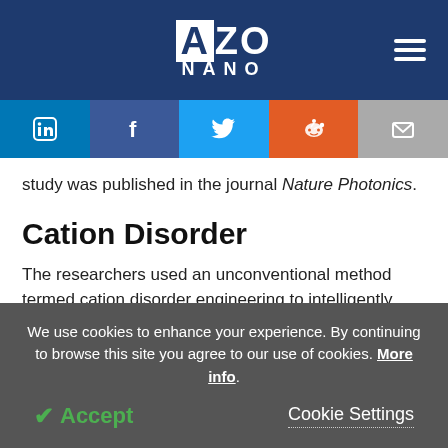AZO NANO
study was published in the journal Nature Photonics.
Cation Disorder
The researchers used an unconventional method termed cation disorder engineering to intelligently create the layer of nanocrystals in the cell. They did
We use cookies to enhance your experience. By continuing to browse this site you agree to our use of cookies. More info.
Accept   Cookie Settings